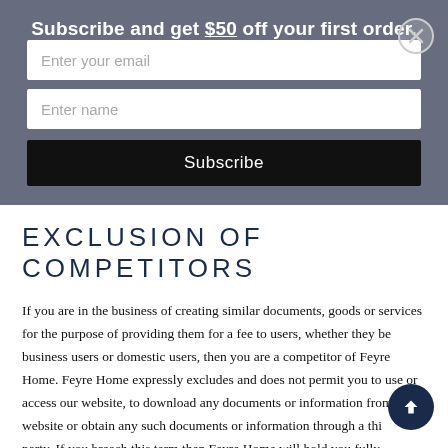Subscribe and get $50 off your first order.
EXCLUSION OF COMPETITORS
If you are in the business of creating similar documents, goods or services for the purpose of providing them for a fee to users, whether they be business users or domestic users, then you are a competitor of Feyre Home. Feyre Home expressly excludes and does not permit you to use or access our website, to download any documents or information from its website or obtain any such documents or information through a third party. If you breach this term then Feyre Home will hold you fully responsible for any loss that we may sustain and further hold you accountable for all profits that you might make from such unpermitted and